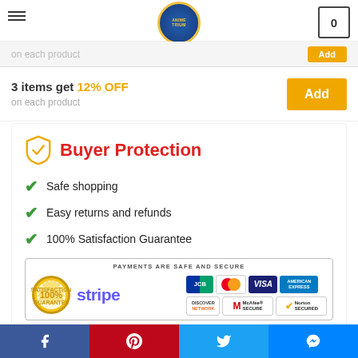Animetrium — navigation header with logo and cart
on each product
3 items get 12% OFF on each product — Add
Buyer Protection
Safe shopping
Easy returns and refunds
100% Satisfaction Guarantee
[Figure (infographic): Payments Are Safe And Secure banner with Stripe logo, 100% Satisfaction Guarantee badge, and payment card logos: JCB, Mastercard, Visa, American Express, Discover, McAfee Secure, Norton Secured]
[Figure (infographic): Social share buttons: Facebook, Pinterest, Twitter, Messenger]